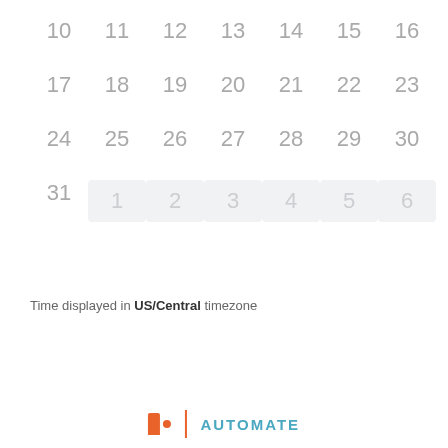| 10 | 11 | 12 | 13 | 14 | 15 | 16 |
| 17 | 18 | 19 | 20 | 21 | 22 | 23 |
| 24 | 25 | 26 | 27 | 28 | 29 | 30 |
| 31 | 1 | 2 | 3 | 4 | 5 | 6 |
Time displayed in US/Central timezone
[Figure (logo): Automate logo with orange bar and dot icon, vertical orange divider, and blue AUTOMATE text]